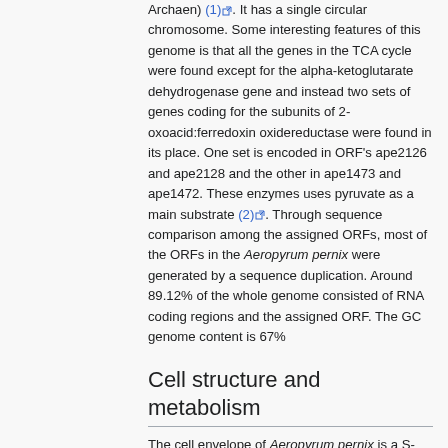Archaen) (1). It has a single circular chromosome. Some interesting features of this genome is that all the genes in the TCA cycle were found except for the alpha-ketoglutarate dehydrogenase gene and instead two sets of genes coding for the subunits of 2-oxoacid:ferredoxin oxidereductase were found in its place. One set is encoded in ORF's ape2126 and ape2128 and the other in ape1473 and ape1472. These enzymes uses pyruvate as a main substrate (2). Through sequence comparison among the assigned ORFs, most of the ORFs in the Aeropyrum pernix were generated by a sequence duplication. Around 89.12% of the whole genome consisted of RNA coding regions and the assigned ORF. The GC genome content is 67%
Cell structure and metabolism
The cell envelope of Aeropyrum pernix is a S-layer and is Gram-negative. S-layers, which are found mostly on Archaea, consists of